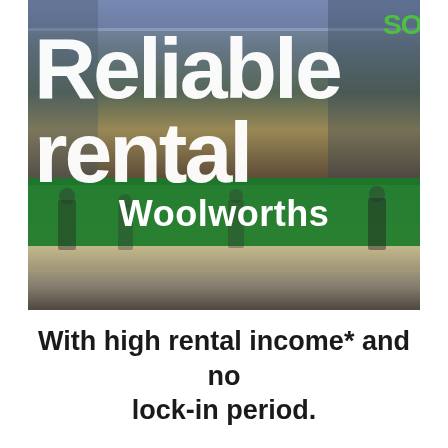[Figure (photo): Interior of a Woolworths supermarket viewed from above, showing checkout counters, shoppers, and store shelving. Bold white text overlaid reads 'Reliable rental' with a green 'SOS' badge top right and 'Woolworths' text on a green background strip.]
With high rental income* and no lock-in period.